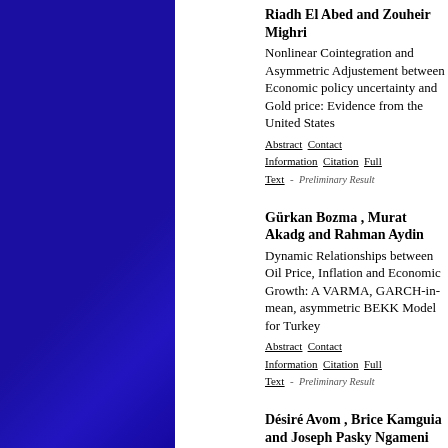Sep 17 2021 | Riadh El Abed and Zouheir Mighri | Nonlinear Cointegration and Asymmetric Adjustement between Economic policy uncertainty and Gold price: Evidence from the United States | Abstract Contact Information Citation Full Text - Preliminary Result
Sep 06 2021 | Gürkan Bozma , Murat Akadg and Rahman Aydin | Dynamic Relationships between Oil Price, Inflation and Economic Growth: A VARMA, GARCH-in-mean, asymmetric BEKK Model for Turkey | Abstract Contact Information Citation Full Text - Preliminary Result
Jul 18 2021 | Désiré Avom , Brice Kamguia and Joseph Pasky Ngameni | Does volatility hinder economic complexity?